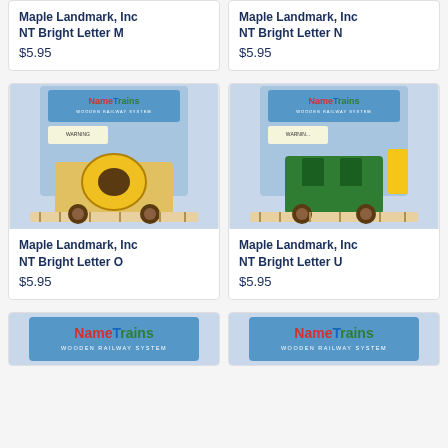Maple Landmark, Inc NT Bright Letter M
$5.95
Maple Landmark, Inc NT Bright Letter N
$5.95
[Figure (photo): Yellow wooden letter O train car on wooden track, NameTrains packaging]
Maple Landmark, Inc NT Bright Letter O
$5.95
[Figure (photo): Green wooden letter U train car on wooden track, NameTrains packaging]
Maple Landmark, Inc NT Bright Letter U
$5.95
[Figure (photo): NameTrains wooden railway system logo card, partially visible]
[Figure (photo): NameTrains wooden railway system logo card, partially visible]